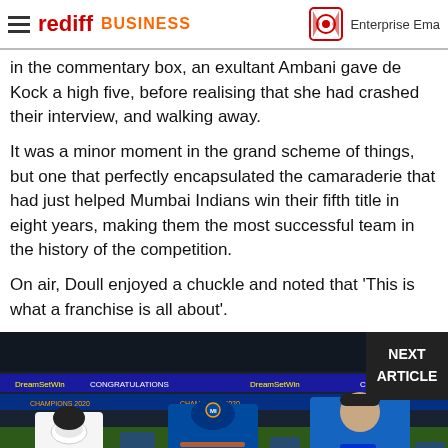rediff BUSINESS | Enterprise Email
in the commentary box, an exultant Ambani gave de Kock a high five, before realising that she had crashed their interview, and walking away.
It was a minor moment in the grand scheme of things, but one that perfectly encapsulated the camaraderie that had just helped Mumbai Indians win their fifth title in eight years, making them the most successful team in the history of the competition.
On air, Doull enjoyed a chuckle and noted that 'This is what a franchise is all about'.
[Figure (photo): Photo of people on a cricket field after the match. A woman in white wearing a mask, a player in Mumbai Indians blue jersey with SAMSUNG G text, and another player in Mumbai Indians blue jersey with Jio logo and LUBRIG text. CHAMPIONS 2020 text visible in background. NEXT ARTICLE overlay in top right corner.]